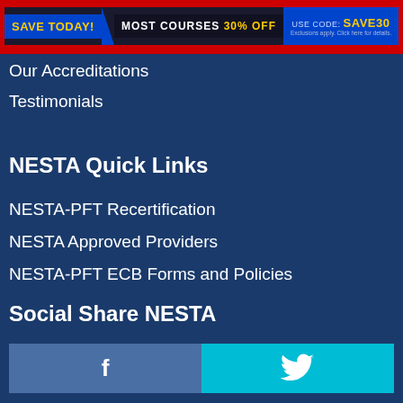SAVE TODAY! MOST COURSES 30% OFF USE CODE: SAVE30
Our Accreditations
Testimonials
NESTA Quick Links
NESTA-PFT Recertification
NESTA Approved Providers
NESTA-PFT ECB Forms and Policies
Social Share NESTA
[Figure (other): Facebook share button (dark blue with 'f' icon) and Twitter share button (cyan with bird icon)]